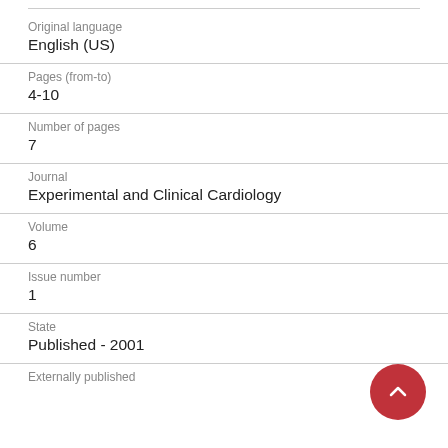Original language
English (US)
Pages (from-to)
4-10
Number of pages
7
Journal
Experimental and Clinical Cardiology
Volume
6
Issue number
1
State
Published - 2001
Externally published